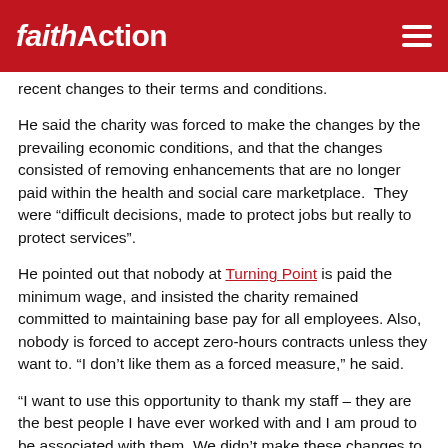FaithAction
recent changes to their terms and conditions.
He said the charity was forced to make the changes by the prevailing economic conditions, and that the changes consisted of removing enhancements that are no longer paid within the health and social care marketplace.  They were “difficult decisions, made to protect jobs but really to protect services”.
He pointed out that nobody at Turning Point is paid the minimum wage, and insisted the charity remained committed to maintaining base pay for all employees. Also, nobody is forced to accept zero-hours contracts unless they want to. “I don’t like them as a forced measure,” he said.
“I want to use this opportunity to thank my staff – they are the best people I have ever worked with and I am proud to be associated with them. We didn’t make these changes to increase profits, but we need to be sustainable.